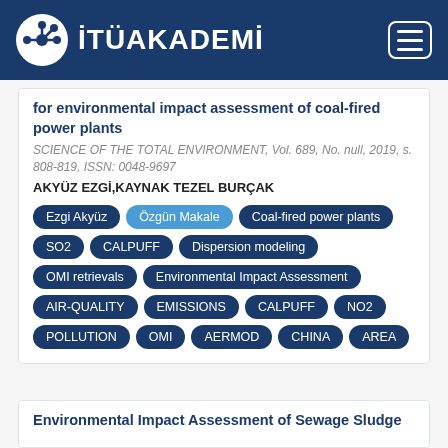[Figure (logo): İTÜAKADEMİ logo with network icon and hamburger menu button on dark blue header bar]
for environmental impact assessment of coal-fired power plants
SCIENCE OF THE TOTAL ENVIRONMENT, Vol. 689, No. null, 2019, s. 808-819, ISSN: 0048-9697
AKYÜZ EZGİ,KAYNAK TEZEL BURÇAK
Ezgi Akyüz
Özgün Makale
Coal-fired power plants
SO2
CALPUFF
Dispersion modeling
OMI retrievals
Environmental Impact Assessment
AIR-QUALITY
EMISSIONS
CALPUFF
NO2
POLLUTION
OMI
AERMOD
CHINA
AREA
Environmental Impact Assessment of Sewage Sludge